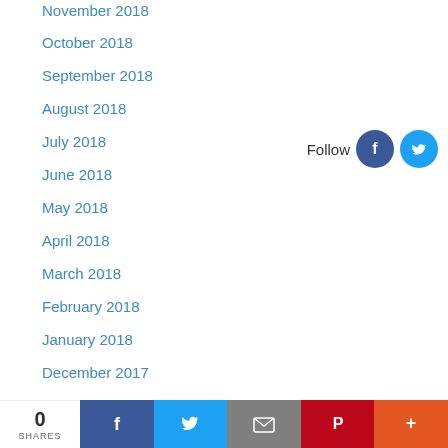November 2018
October 2018
September 2018
August 2018
July 2018
June 2018
May 2018
April 2018
March 2018
February 2018
January 2018
December 2017
November 2017
October 2017
[Figure (other): Follow us icons: Facebook and Twitter circular social media buttons with 'Follow' label]
[Figure (other): Social share bar at bottom: 0 SHARES counter, Facebook, Twitter, Email, Pinterest, More buttons]